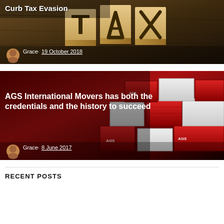[Figure (photo): Blog post card with wooden letter blocks spelling TAX on a dark wooden table. Post title partially visible: 'Curb Tax Evasion']
Grace · 19 October 2018
[Figure (photo): Blog post card showing red and white AGS International Movers shipping containers/boxes stacked. Title: 'AGS International Movers has both the credentials and the history to succeed']
Grace · 8 June 2017
RECENT POSTS